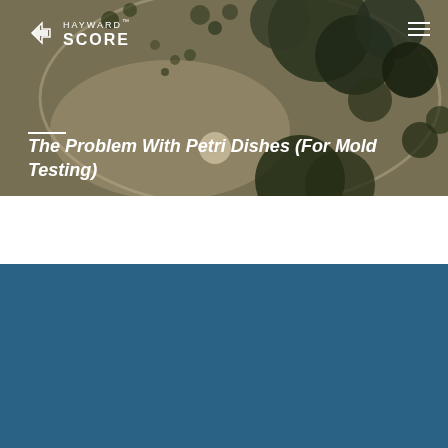[Figure (photo): Close-up photo of a petri dish showing mold colonies growing on an agar medium, with dark green/grey mold clusters visible against a light background]
The Problem With Petri Dishes (For Mold Testing)
CATEGORIES
Allergy
Asthma
Chemical/VOCs
COVID-19
Disaster Recovery